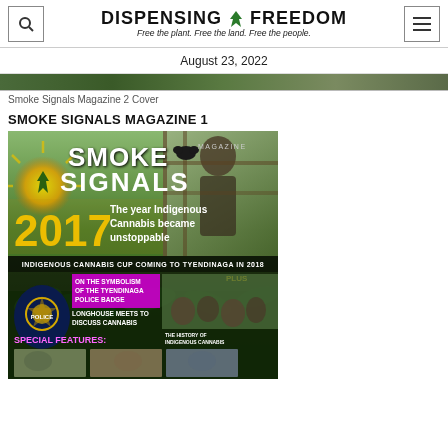DISPENSING FREEDOM — Free the plant. Free the land. Free the people.
August 23, 2022
Smoke Signals Magazine 2 Cover
SMOKE SIGNALS MAGAZINE 1
[Figure (photo): Cover of Smoke Signals Magazine Issue 1 featuring the text '2017 The year Indigenous Cannabis became unstoppable', Indigenous Cannabis Cup announcement, badge symbolism article teaser, longhouse meeting teaser, special features section with thumbnails]